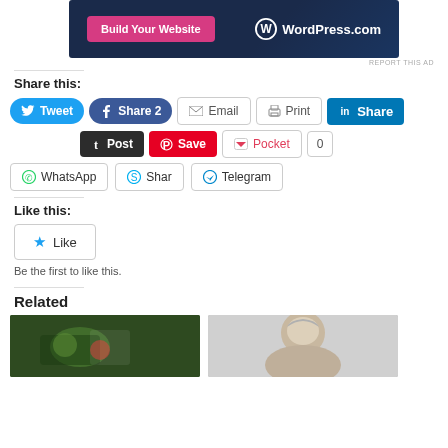[Figure (screenshot): WordPress.com advertisement banner with 'Build Your Website' button on dark blue background]
REPORT THIS AD
Share this:
[Figure (screenshot): Social sharing buttons: Tweet, Share 2, Email, Print, Share (LinkedIn), Post (Tumblr), Save (Pinterest), Pocket 0, WhatsApp, Shar (Skype), Telegram]
Like this:
[Figure (screenshot): Like button widget with star icon]
Be the first to like this.
Related
[Figure (photo): Rugby players in action on a field]
[Figure (photo): Portrait of a grey-haired man]